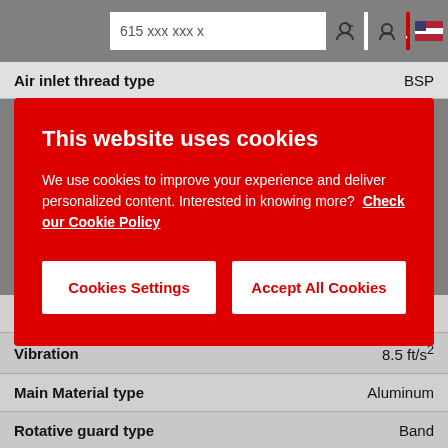615 xxx xxx x
Air inlet thread type   BSP
This website uses cookies

We use cookies to improve your experience and deliver personalized content. Interested in knowing more? Check our Cookie Policy

[Cookies Settings] [Accept All Cookies]
| Property | Value |
| --- | --- |
| Max power | 1200 W |
| Vibration | 8.5 ft/s² |
| Main Material type | Aluminum |
| Rotative guard type | Band |
| Family | Grinders |